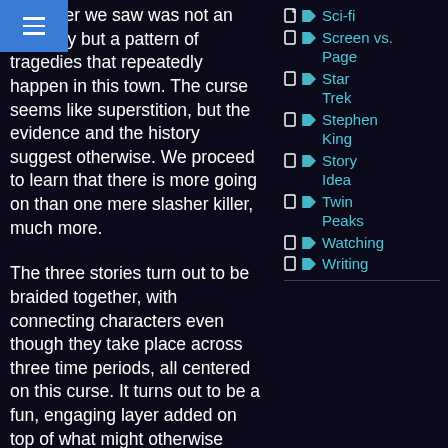n murder we saw was not an anomaly but a pattern of tragedies that repeatedly happen in this town. The curse seems like superstition, but the evidence and the history suggest otherwise. We proceed to learn that there is more going on than one mere slasher killer, much more.
The three stories turn out to be braided together, with connecting characters even though they take place across three time periods, all centered on this curse. It turns out to be a fun, engaging layer added on top of what might otherwise have been three popcorn-type horrors.
One step further, there is cur...
Sci-fi
Screen vs. Page
Star Trek
Stephen King
Story Idea
Twin Peaks
Watching
Writing